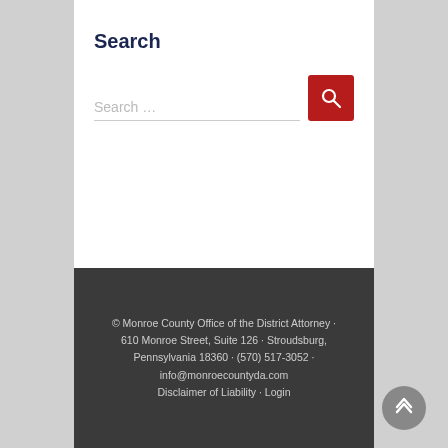Search
[Figure (screenshot): Search input field with placeholder text 'Search ...' and a red search button with magnifying glass icon]
© Monroe County Office of the District Attorney · 610 Monroe Street, Suite 126 · Stroudsburg, Pennsylvania 18360 · (570) 517-3052 · info@monroecountyda.com Disclaimer of Liability · Login